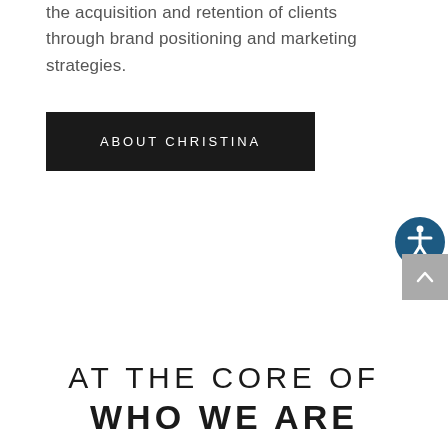the acquisition and retention of clients through brand positioning and marketing strategies.
[Figure (other): Black rectangular button with white uppercase text reading 'ABOUT CHRISTINA']
[Figure (other): Accessibility icon: circular dark blue badge with white wheelchair/person symbol]
[Figure (other): Gray scroll-to-top button with upward caret/arrow]
AT THE CORE OF WHO WE ARE